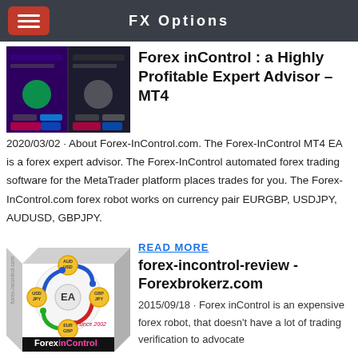FX Options
[Figure (screenshot): Forex inControl promotional banner/screenshot showing dark purple trading platform interface]
Forex inControl : a Highly Profitable Expert Advisor – MT4
2020/03/02 · About Forex-InControl.com. The Forex-InControl MT4 EA is a forex expert advisor. The Forex-InControl automated forex trading software for the MetaTrader platform places trades for you. The Forex-InControl.com forex robot works on currency pair EURGBP, USDJPY, AUDUSD, GBPJPY.
READ MORE
[Figure (illustration): Forex inControl product box showing currency pairs AUDUSD, GBPJPY, USDJPY, EURGBP with EA logo and 'since 2002' label]
forex-incontrol-review - Forexbrokerz.com
2015/09/18 · Forex inControl is an expensive forex robot, that doesn't have a lot of trading verification to advocate